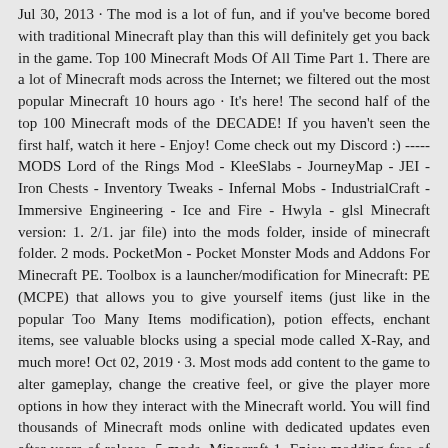Jul 30, 2013 · The mod is a lot of fun, and if you've become bored with traditional Minecraft play than this will definitely get you back in the game. Top 100 Minecraft Mods Of All Time Part 1. There are a lot of Minecraft mods across the Internet; we filtered out the most popular Minecraft 10 hours ago · It's here! The second half of the top 100 Minecraft mods of the DECADE! If you haven't seen the first half, watch it here - Enjoy! Come check out my Discord :) -----MODS Lord of the Rings Mod - KleeSlabs - JourneyMap - JEI - Iron Chests - Inventory Tweaks - Infernal Mobs - IndustrialCraft - Immersive Engineering - Ice and Fire - Hwyla - glsl Minecraft version: 1. 2/1. jar file) into the mods folder, inside of minecraft folder. 2 mods. PocketMon - Pocket Monster Mods and Addons For Minecraft PE. Toolbox is a launcher/modification for Minecraft: PE (MCPE) that allows you to give yourself items (just like in the popular Too Many Items modification), potion effects, enchant items, see valuable blocks using a special mode called X-Ray, and much more! Oct 02, 2019 · 3. Most mods add content to the game to alter gameplay, change the creative feel, or give the player more options in how they interact with the Minecraft world. You will find thousands of Minecraft mods online with dedicated updates even after years of release. 5 mods, Minecraft 1. Enjoy modding free of ads and distractions. Raptorfarian and Alexthe666's Ice and Fire: Dragons is a mod that adds a whole load of fantasy creatures into the base game. Minecraft Armor, Tools, and Weapons Mods is a category